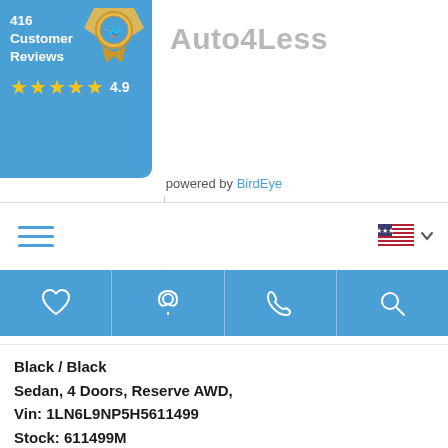[Figure (screenshot): BirdEye review badge showing 416 Customer Reviews with 4.9 star rating on teal background with badge icon]
Auto4Less
powered by BirdEye
[Figure (other): Navigation bar with hamburger menu icon and US flag with dropdown chevron]
[Figure (other): Blue navigation icon bar with heart, location pin, phone, and search icons]
Black / Black
Sedan, 4 Doors, Reserve AWD,
Vin: 1LN6L9NP5H5611499
Stock: 611499M
44,609 Miles
Engine: 2.7L 335.0hp, Automatic Transmission
| City MPG |  | Hwy MPG |
| --- | --- | --- |
| 17.00 |  | 25.00 |